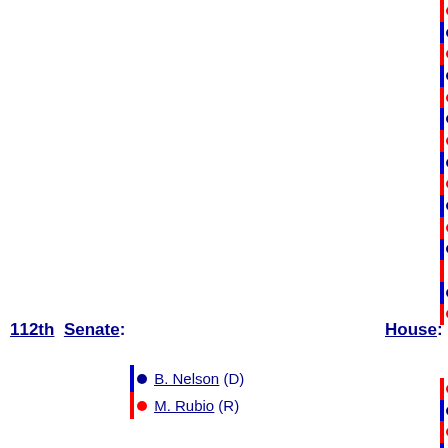J. Miller (R)
G. Brown-W
M. Díaz-Ba
K. Meek (D)
C. Mack (R)
D. Wasserma
V. Buchanan
G. Bilirakis
K. Castor (D)
R. Klein (D)
A. Grayson
S. Kosmas (
B. Posey (R)
T. Rooney (
T. Deutch (D
112th Senate:
House:
B. Nelson (D)
M. Rubio (R)
B. Young (R
C. Stearns (
I. Ros-Lehti
C. Brown (D
A. Hastings
J. Mica (R)
A. Crenshaw
J. Miller (R)